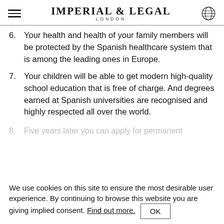IMPERIAL & LEGAL LONDON
6. Your health and health of your family members will be protected by the Spanish healthcare system that is among the leading ones in Europe.
7. Your children will be able to get modern high-quality school education that is free of charge. And degrees earned at Spanish universities are recognised and highly respected all over the world.
8. Five years later you can apply for permanent...
We use cookies on this site to ensure the most desirable user experience. By continuing to browse this website you are giving implied consent. Find out more. OK